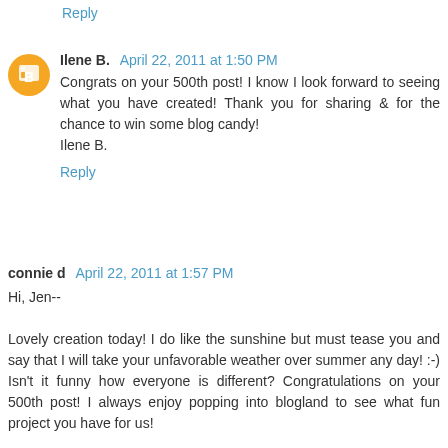Reply
Ilene B.  April 22, 2011 at 1:50 PM
Congrats on your 500th post! I know I look forward to seeing what you have created! Thank you for sharing & for the chance to win some blog candy!
Ilene B.
Reply
connie d  April 22, 2011 at 1:57 PM
Hi, Jen--

Lovely creation today! I do like the sunshine but must tease you and say that I will take your unfavorable weather over summer any day! :-) Isn't it funny how everyone is different? Congratulations on your 500th post! I always enjoy popping into blogland to see what fun project you have for us!

Bless you!